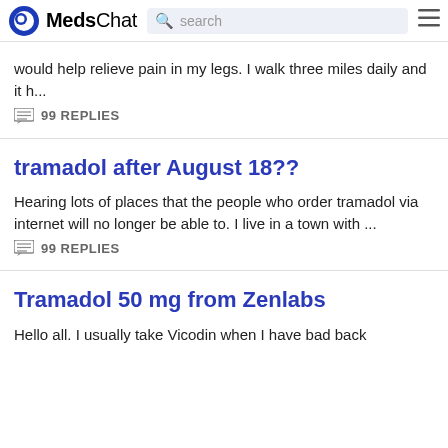MedsChat  search
would help relieve pain in my legs. I walk three miles daily and it h...
99 REPLIES
tramadol after August 18??
Hearing lots of places that the people who order tramadol via internet will no longer be able to. I live in a town with ...
99 REPLIES
Tramadol 50 mg from Zenlabs
Hello all. I usually take Vicodin when I have bad back